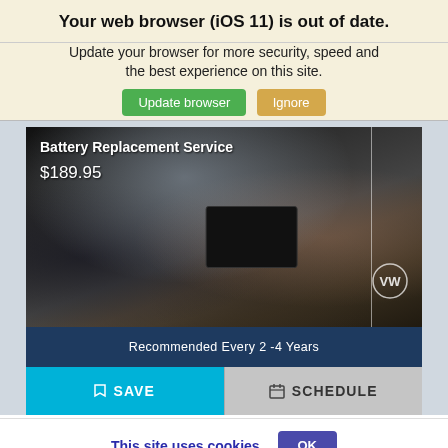Your web browser (iOS 11) is out of date.
Update your browser for more security, speed and the best experience on this site.
Update browser | Ignore
[Figure (photo): A mechanic wearing a blue latex glove works on a car battery in an engine bay. The black battery is visible in the foreground. A vertical white divider line and VW (Volkswagen) logo appear on the right side of the image.]
Battery Replacement Service
$189.95
Recommended Every 2 -4 Years
SAVE | SCHEDULE
This site uses cookies.  OK